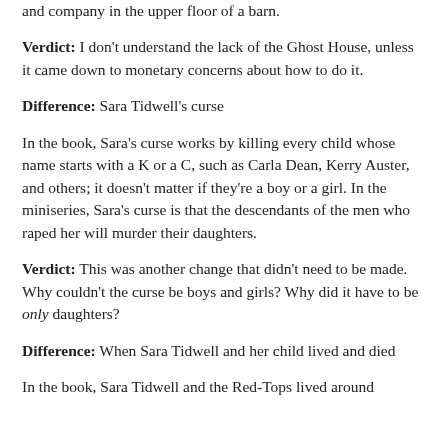and company in the upper floor of a barn.
Verdict: I don't understand the lack of the Ghost House, unless it came down to monetary concerns about how to do it.
Difference: Sara Tidwell's curse
In the book, Sara's curse works by killing every child whose name starts with a K or a C, such as Carla Dean, Kerry Auster, and others; it doesn't matter if they're a boy or a girl. In the miniseries, Sara's curse is that the descendants of the men who raped her will murder their daughters.
Verdict: This was another change that didn't need to be made. Why couldn't the curse be boys and girls? Why did it have to be only daughters?
Difference: When Sara Tidwell and her child lived and died
In the book, Sara Tidwell and the Red-Tops lived around